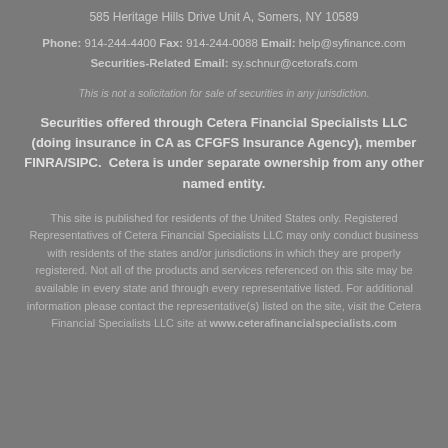585 Heritage Hills Drive Unit A, Somers, NY 10589
Phone: 914-244-4400 Fax: 914-244-0088 Email: help@syfinance.com
Securities-Related Email: sy.schnur@cetorafs.com
This is not a solicitation for sale of securities in any jurisdiction.
Securities offered through Cetera Financial Specialists LLC (doing insurance in CA as CFGFS Insurance Agency), member FINRA/SIPC.  Cetera is under separate ownership from any other named entity.
This site is published for residents of the United States only. Registered Representatives of Cetera Financial Specialists LLC may only conduct business with residents of the states and/or jurisdictions in which they are properly registered. Not all of the products and services referenced on this site may be available in every state and through every representative listed. For additional information please contact the representative(s) listed on the site, visit the Cetera Financial Specialists LLC site at www.ceterafinancialspecialists.com